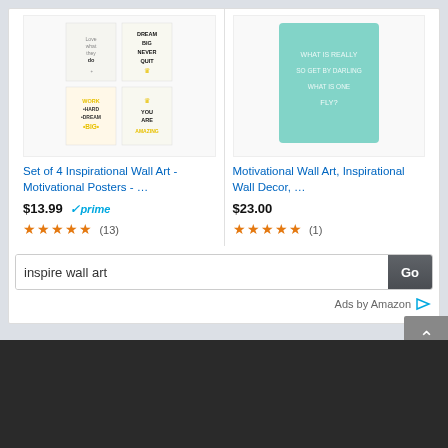[Figure (screenshot): Amazon product card: Set of 4 Inspirational Wall Art Motivational Posters with 2x2 grid thumbnail images]
Set of 4 Inspirational Wall Art - Motivational Posters - …
$13.99 ✓prime (13)
[Figure (screenshot): Amazon product card: Motivational Wall Art, Inspirational Wall Decor with mint/teal background quote art thumbnail]
Motivational Wall Art, Inspirational Wall Decor, …
$23.00 (1)
inspire wall art
Go
Ads by Amazon
SEARCH ...